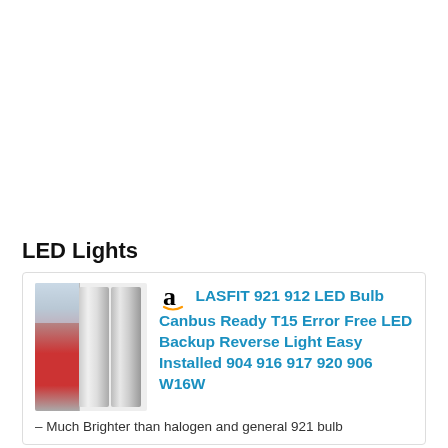See More 917 Halogen Lights
LED Lights
[Figure (photo): Product image of LASFIT LED bulbs showing packaging and two bulb units]
LASFIT 921 912 LED Bulb Canbus Ready T15 Error Free LED Backup Reverse Light Easy Installed 904 916 917 920 906 W16W
– Much Brighter than halogen and general 921 bulb